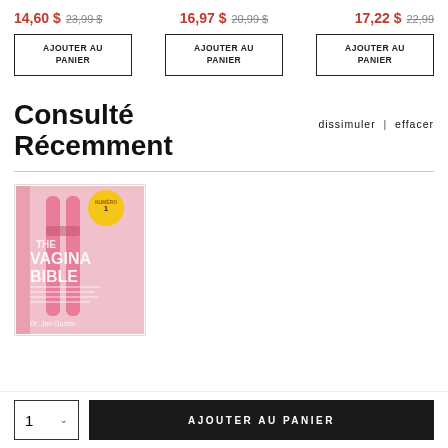14,60 $ 23,99 $ | 16,97 $ 20,99 $ | 17,22 $ 22,99 $
AJOUTER AU PANIER (x3)
Consulté Récemment
dissimuler | effacer
[Figure (photo): Book cover: The Vagina Bible by Dr. Jen Gunter, pink cover with yellow badge]
1 ∨
AJOUTER AU PANIER